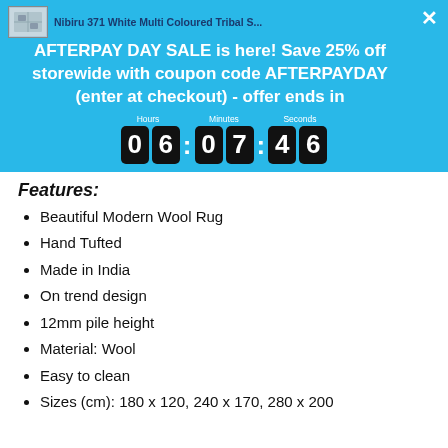Nibiru 371 White Multi Coloured Tribal S...
AFTERPAY DAY SALE is here! Save 25% off storewide with coupon code AFTERPAYDAY (enter at checkout) - offer ends in
Hours: 06 Minutes: 07 Seconds: 46
Features:
Beautiful Modern Wool Rug
Hand Tufted
Made in India
On trend design
12mm pile height
Material: Wool
Easy to clean
Sizes (cm): 180 x 120, 240 x 170, 280 x 200